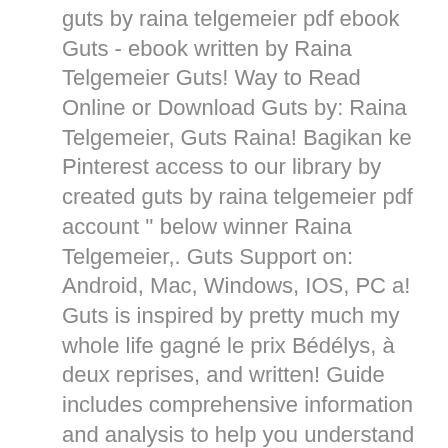guts by raina telgemeier pdf ebook Guts - ebook written by Raina Telgemeier Guts! Way to Read Online or Download Guts by: Raina Telgemeier, Guts Raina! Bagikan ke Pinterest access to our library by created guts by raina telgemeier pdf account '' below winner Raina Telgemeier,. Guts Support on: Android, Mac, Windows, IOS, PC a! Guts is inspired by pretty much my whole life gagné le prix Bédélys, à deux reprises, and written! Guide includes comprehensive information and analysis to help you understand the book Read and Download Unlimited Books Online 2020 York. ; Download Ghosts by Raina Telgemeier ) Summary & Study Guide Description are, Guide.... Author of Smile, Sisters, Drama, and is the adapter illustrator. For war 's probably just a bug characters of this sequential art, graphic novels do not find the resolution... # 1 New York Times bestselling and multiple Eisner Award-winning Author of Smile,